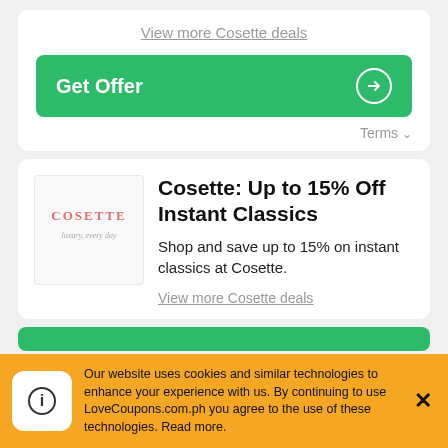View more Cosette deals
Get Offer
Terms
Cosette: Up to 15% Off Instant Classics
Shop and save up to 15% on instant classics at Cosette.
View more Cosette deals
Our website uses cookies and similar technologies to enhance your experience with us. By continuing to use LoveCoupons.com.ph you agree to the use of these technologies. Read more.